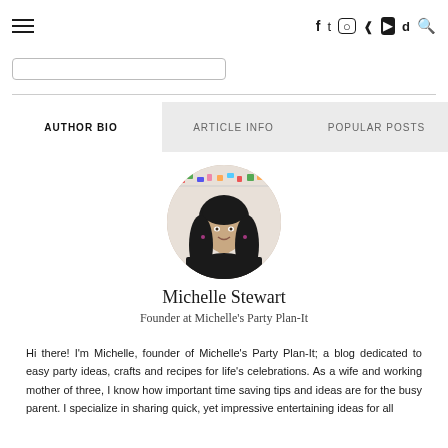≡  f  t  ◎  p  ▶  ♪  🔍
[Figure (photo): Circular cropped portrait photo of Michelle Stewart, a woman with long dark wavy hair, smiling, wearing a black top, with colorful craft supplies visible in the background.]
AUTHOR BIO
ARTICLE INFO
POPULAR POSTS
Michelle Stewart
Founder at Michelle's Party Plan-It
Hi there! I'm Michelle, founder of Michelle's Party Plan-It; a blog dedicated to easy party ideas, crafts and recipes for life's celebrations. As a wife and working mother of three, I know how important time saving tips and ideas are for the busy parent. I specialize in sharing quick, yet impressive entertaining ideas for all